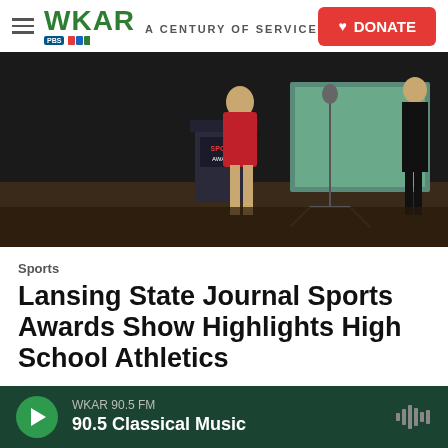WKAR A CENTURY OF SERVICE — DONATE
[Figure (photo): A woman in a red dress stands at a podium with a Sports Awards lectern on a dark stage. A microphone stand is visible to the right, and another figure in black stands at the far right edge.]
Sports
Lansing State Journal Sports Awards Show Highlights High School Athletics
June 1, 2017
WKAR 90.5 FM  90.5 Classical Music